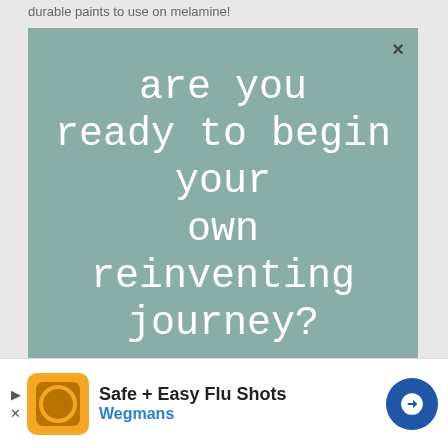durable paints to use on melamine!
[Figure (screenshot): Modal popup overlay with teal/sage green background. Contains a close button (×) in top right, large serif/monospace white title text reading 'are you ready to begin your own reinventing journey?', body text inviting user to sign up for free tutorials, an email address input field, and a submit button at the bottom.]
We would love to share our free tutorials with you each week! Sign up below so you don't miss any of the fun projects!
Email address
[Figure (screenshot): Advertisement banner at bottom: orange square icon with circular logo, text 'Safe + Easy Flu Shots' in bold and 'Wegmans' in blue, blue circular arrow icon on right. Play and close (x) controls on left side.]